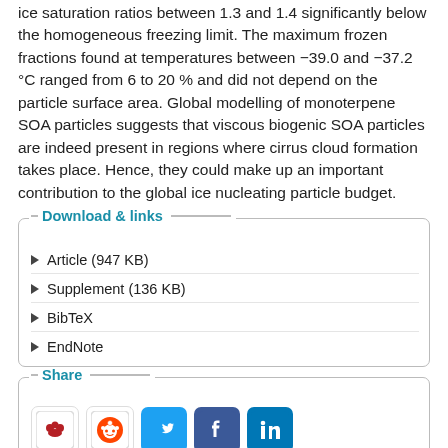ice saturation ratios between 1.3 and 1.4 significantly below the homogeneous freezing limit. The maximum frozen fractions found at temperatures between −39.0 and −37.2 °C ranged from 6 to 20 % and did not depend on the particle surface area. Global modelling of monoterpene SOA particles suggests that viscous biogenic SOA particles are indeed present in regions where cirrus cloud formation takes place. Hence, they could make up an important contribution to the global ice nucleating particle budget.
Download & links
Article (947 KB)
Supplement (136 KB)
BibTeX
EndNote
Share
[Figure (other): Social share buttons: Mendeley, Reddit, Twitter, Facebook, LinkedIn]